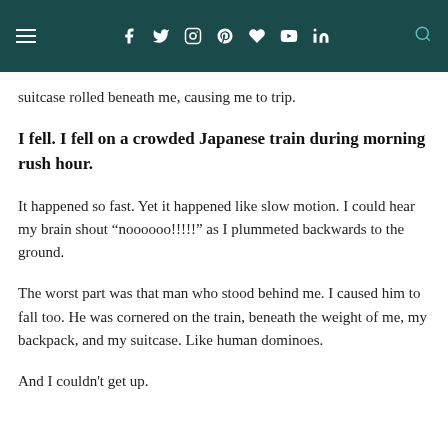Navigation bar with hamburger menu and social icons
suitcase rolled beneath me, causing me to trip.
I fell. I fell on a crowded Japanese train during morning rush hour.
It happened so fast. Yet it happened like slow motion. I could hear my brain shout “noooooo!!!!!” as I plummeted backwards to the ground.
The worst part was that man who stood behind me. I caused him to fall too. He was cornered on the train, beneath the weight of me, my backpack, and my suitcase. Like human dominoes.
And I couldn't get up.